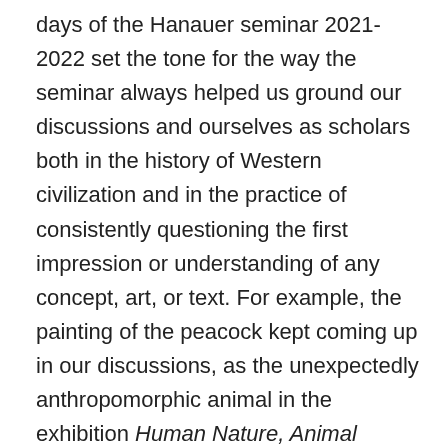days of the Hanauer seminar 2021-2022 set the tone for the way the seminar always helped us ground our discussions and ourselves as scholars both in the history of Western civilization and in the practice of consistently questioning the first impression or understanding of any concept, art, or text. For example, the painting of the peacock kept coming up in our discussions, as the unexpectedly anthropomorphic animal in the exhibition Human Nature, Animal Culture or perhaps, intriguingly, as the animal with agency among animals portrayed without agency? The fact that we could not fully agree¾or decide¾on the role of (or the intention behind the portrayal of) the peacock is the reason why I decided to submit this picture at the end of the seminar. I chose the text The Lives of Animals by J